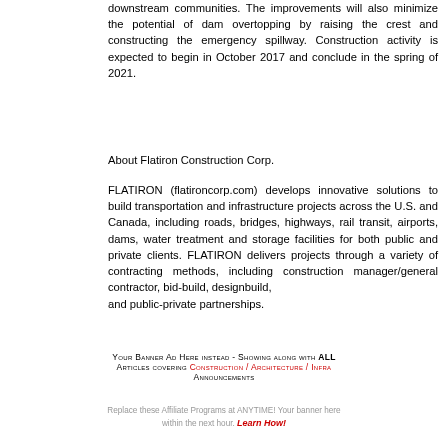downstream communities. The improvements will also minimize the potential of dam overtopping by raising the crest and constructing the emergency spillway. Construction activity is expected to begin in October 2017 and conclude in the spring of 2021.
About Flatiron Construction Corp.
FLATIRON (flatironcorp.com) develops innovative solutions to build transportation and infrastructure projects across the U.S. and Canada, including roads, bridges, highways, rail transit, airports, dams, water treatment and storage facilities for both public and private clients. FLATIRON delivers projects through a variety of contracting methods, including construction manager/general contractor, bid-build, designbuild, and public-private partnerships.
Your Banner Ad Here instead - Showing along with ALL Articles covering Construction / Architecture / Infra Announcements
Replace these Affiliate Programs at ANYTIME! Your banner here within the next hour. Learn How!